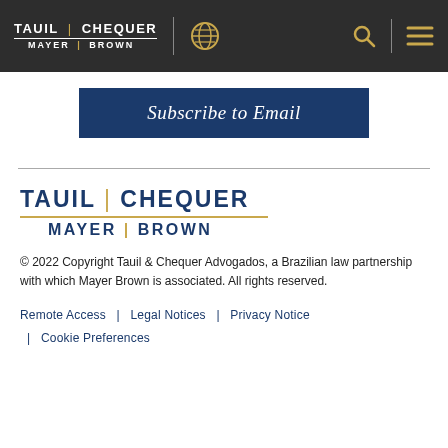TAUIL | CHEQUER MAYER | BROWN
Subscribe to Email
[Figure (logo): Tauil Chequer Mayer Brown footer logo with gold separator and underline]
© 2022 Copyright Tauil & Chequer Advogados, a Brazilian law partnership with which Mayer Brown is associated. All rights reserved.
Remote Access  |  Legal Notices  |  Privacy Notice  |  Cookie Preferences